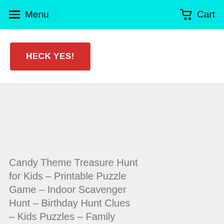Menu   Cart
HECK YES!
Candy Theme Treasure Hunt for Kids – Printable Puzzle Game – Indoor Scavenger Hunt – Birthday Hunt Clues – Kids Puzzles – Family Game Night